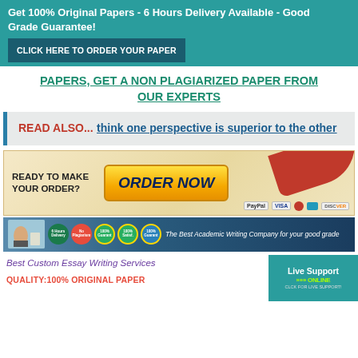Get 100% Original Papers - 6 Hours Delivery Available - Good Grade Guarantee! CLICK HERE TO ORDER YOUR PAPER
PAPERS, GET A NON PLAGIARIZED PAPER FROM OUR EXPERTS
READ ALSO... think one perspective is superior to the other
[Figure (infographic): Order Now banner with yellow button, payment icons (PayPal, Visa, Mastercard, Discover), red swoosh decoration, and left text READY TO MAKE YOUR ORDER?]
[Figure (infographic): Academic writing company banner: 6 Hours Delivery Available, No Plagiarism, 100% Guaranteed, 100% Satisfaction, 100% Guarantee badges. Text: The Best Academic Writing Company for your good grade]
Best Custom Essay Writing Services
QUALITY:100% ORIGINAL PAPER
[Figure (infographic): Live Support ONLINE box with green arrows and click for live support text]